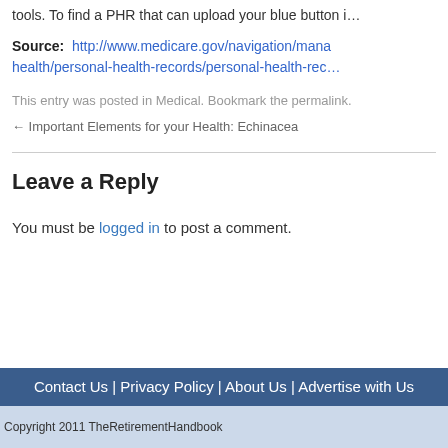tools. To find a PHR that can upload your blue button i…
Source:  http://www.medicare.gov/navigation/manage-your-health/personal-health-records/personal-health-rec…
This entry was posted in Medical. Bookmark the permalink.
← Important Elements for your Health: Echinacea
Leave a Reply
You must be logged in to post a comment.
Contact Us | Privacy Policy | About Us | Advertise with Us
Copyright 2011 TheRetirementHandbook